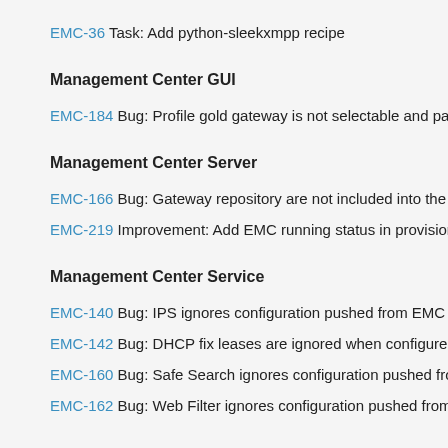EMC-36 Task: Add python-sleekxmpp recipe
Management Center GUI
EMC-184 Bug: Profile gold gateway is not selectable and page s
Management Center Server
EMC-166 Bug: Gateway repository are not included into the bac
EMC-219 Improvement: Add EMC running status in provisioning
Management Center Service
EMC-140 Bug: IPS ignores configuration pushed from EMC
EMC-142 Bug: DHCP fix leases are ignored when configured by
EMC-160 Bug: Safe Search ignores configuration pushed from E
EMC-162 Bug: Web Filter ignores configuration pushed from EM